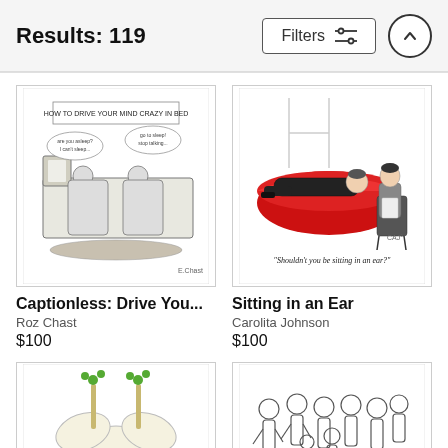Results: 119
Filters
[Figure (illustration): New Yorker cartoon by Roz Chast titled 'Captionless: Drive You...' - pencil sketch of two people in bed with speech bubbles, titled 'How to Drive Your Mind Crazy in Bed']
[Figure (illustration): New Yorker cartoon by Carolita Johnson titled 'Sitting in an Ear' - man lying on a giant red lips-shaped couch/sofa, psychiatrist sitting nearby. Caption reads: 'Shouldn't you be sitting in an ear?']
Captionless: Drive You...
Roz Chast
$100
Sitting in an Ear
Carolita Johnson
$100
[Figure (illustration): New Yorker cartoon showing a close-up of a giraffe's head with flowers/plants on its horns]
[Figure (illustration): New Yorker cartoon showing a group of people, line-drawn figures in a crowd scene]